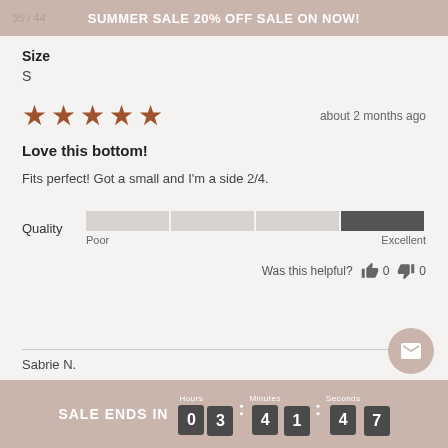SUMMER SALE 20% OFF SALE ON NOW!
Size
S
[Figure (other): Five filled star rating icons in brown/dark-orange color]
about 2 months ago
Love this bottom!
Fits perfect! Got a small and I'm a side 2/4.
[Figure (infographic): Quality rating bar showing a scale from Poor to Excellent with the bar filled nearly to the right (Excellent) end]
Was this helpful?  0  0
Sabrie N.
SALE ENDS IN 0 3 : 4 1 : 4 7